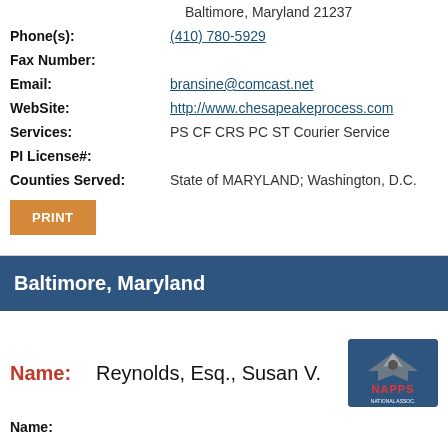Baltimore, Maryland 21237
Phone(s): (410) 780-5929
Fax Number:
Email: bransine@comcast.net
WebSite: http://www.chesapeakeprocess.com
Services: PS CF CRS PC ST Courier Service
PI License#:
Counties Served: State of MARYLAND; Washington, D.C.
Baltimore, Maryland
Name: Reynolds, Esq., Susan V.